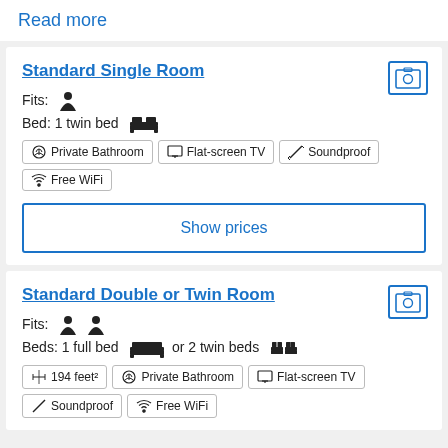Read more
Standard Single Room
Fits: [person icon]
Bed: 1 twin bed [bed icon]
Private Bathroom
Flat-screen TV
Soundproof
Free WiFi
Show prices
Standard Double or Twin Room
Fits: [person icon] [person icon]
Beds: 1 full bed [bed icon] or 2 twin beds [bed icon] [bed icon]
194 feet²
Private Bathroom
Flat-screen TV
Soundproof
Free WiFi